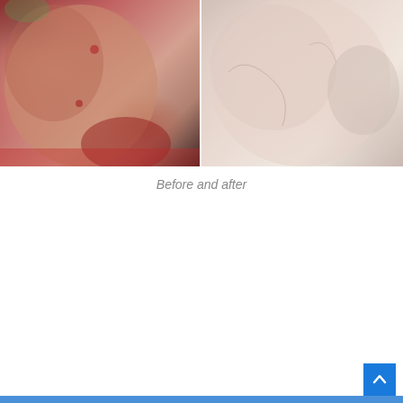[Figure (photo): Before and after comparison photos of a person's face showing acne improvement. Left image shows skin with acne spots, right image shows clearer skin.]
Before and after
[Figure (screenshot): YouTube video thumbnail screenshot showing 'DIY - 3 Green tea Masks for Acne, O...' with a play button overlay, channel avatar of a woman, and background image of a cup of green tea with green tea bags.]